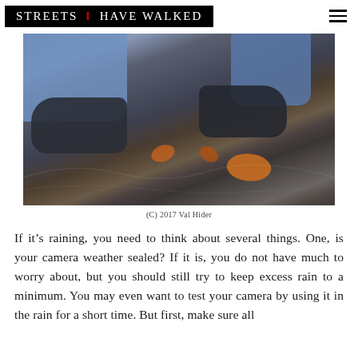STREETS I HAVE WALKED
[Figure (photo): Close-up photograph of a person's feet wearing dark hiking shoes and blue jeans, standing on wet pavement covered with fallen autumn leaves in various shades of orange and brown.]
(C) 2017 Val Hider
If it’s raining, you need to think about several things. One, is your camera weather sealed? If it is, you do not have much to worry about, but you should still try to keep excess rain to a minimum. You may even want to test your camera by using it in the rain for a short time. But first, make sure all